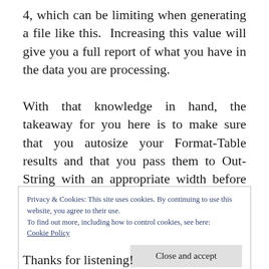4, which can be limiting when generating a file like this.  Increasing this value will give you a full report of what you have in the data you are processing.
With that knowledge in hand, the takeaway for you here is to make sure that you autosize your Format-Table results and that you pass them to Out-String with an appropriate width before you write it to a file if you want to output large tables in text format.
Privacy & Cookies: This site uses cookies. By continuing to use this website, you agree to their use.
To find out more, including how to control cookies, see here: Cookie Policy
Thanks for listening!